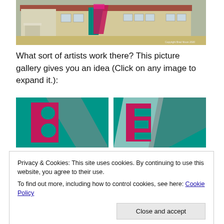[Figure (photo): Exterior photo of a long single-story building with white siding and a red roof. A colorful mural with pink and teal geometric shapes is visible on the side. Copyright Brad Nixon 2020 watermark in lower right.]
What sort of artists work there? This picture gallery gives you an idea (Click on any image to expand it.):
[Figure (photo): Close-up of a colorful mural on a building wall showing a large letter B in magenta/purple on a teal background with a gray shadow/geometric element.]
[Figure (photo): Close-up of a colorful mural on a building wall showing a large letter E in magenta/purple on a teal background with white and gray geometric elements.]
Privacy & Cookies: This site uses cookies. By continuing to use this website, you agree to their use.
To find out more, including how to control cookies, see here: Cookie Policy
[Figure (photo): Partial view of another mural panel with teal color at bottom of page.]
[Figure (photo): Partial view of another mural panel with teal and magenta at bottom of page.]